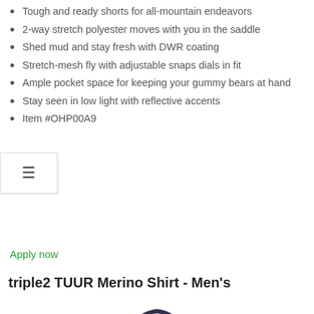Tough and ready shorts for all-mountain endeavors
2-way stretch polyester moves with you in the saddle
Shed mud and stay fresh with DWR coating
Stretch-mesh fly with adjustable snaps dials in fit
Ample pocket space for keeping your gummy bears at hand
Stay seen in low light with reflective accents
Item #OHP00A9
Apply now
triple2 TUUR Merino Shirt - Men's
[Figure (photo): Navy blue triple2 TUUR Merino short-sleeve shirt for men, shown from front torso up, with a small diamond-shaped logo on the chest and a darker panel across the shoulders.]